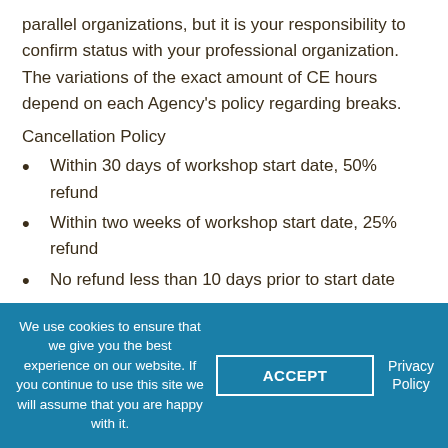parallel organizations, but it is your responsibility to confirm status with your professional organization. The variations of the exact amount of CE hours depend on each Agency's policy regarding breaks.
Cancellation Policy
Within 30 days of workshop start date, 50% refund
Within two weeks of workshop start date, 25% refund
No refund less than 10 days prior to start date
Register Today! These workshops make good therapists better, by combining the science of
We use cookies to ensure that we give you the best experience on our website. If you continue to use this site we will assume that you are happy with it.
ACCEPT
Privacy Policy